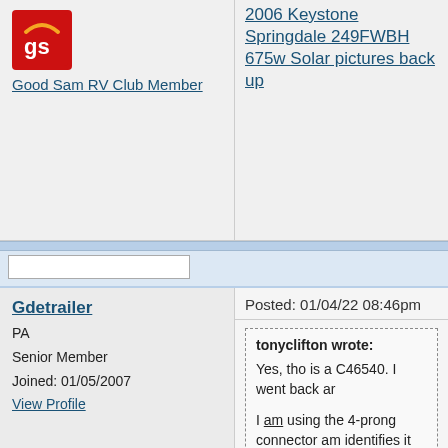[Figure (logo): Good Sam RV Club logo - red square with 'gs' text in white]
Good Sam RV Club Member
2006 Keystone Springdale 249FWBH
675w Solar pictures back up
Gdetrailer
PA
Senior Member
Joined: 01/05/2007
View Profile
Posted: 01/04/22 08:46pm
tonyclifton wrote:
Yes, tho is a C46540. I went back ar

I am using the 4-prong connector am identifies it as a L14-30R.

I was not aware that the AVR was on

I have a kill-a-watt. Low load voltage between 120 - 125v when I made co Is this related to the AVR only functi

My goal; is to power both legs of the off high draw circuits like heat pump this as I shop for a replacement gen bought it based upon extensive revie